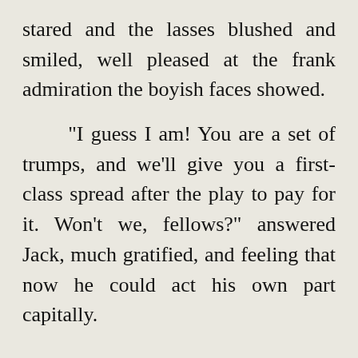stared and the lasses blushed and smiled, well pleased at the frank admiration the boyish faces showed.

"I guess I am! You are a set of trumps, and we'll give you a first-class spread after the play to pay for it. Won't we, fellows?" answered Jack, much gratified, and feeling that now he could act his own part capitally.

"We will. It was a handsome thing to do,